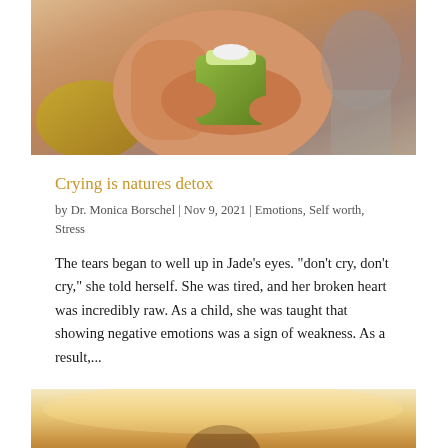[Figure (photo): A person in an orange/tan long-sleeve top holding a green tissue box, sitting on a yellow chair, with a blurred interior background.]
Crying is natures detox
by Dr. Monica Borschel | Nov 9, 2021 | Emotions, Self worth, Stress
The tears began to well up in Jade’s eyes.  “don’t cry, don’t cry,” she told herself.  She was tired, and her broken heart was incredibly raw.  As a child, she was taught that showing negative emotions was a sign of weakness. As a result,...
[Figure (photo): Bottom partial image showing what appears to be a person in warm sunset lighting, cropped at the bottom of the page.]